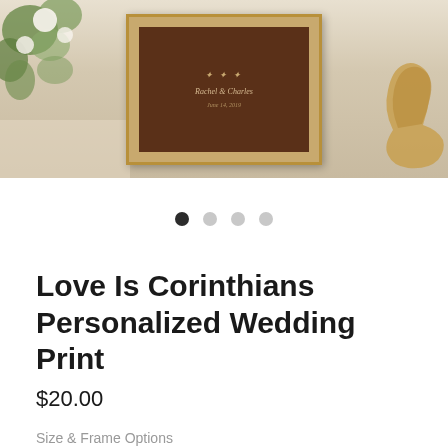[Figure (photo): Product photo of a framed wedding print with dark wood background and script text, flowers and shoe visible in background. Below are four navigation dots.]
Love Is Corinthians Personalized Wedding Print
$20.00
Size & Frame Options
Select
Name Personalization (optional)